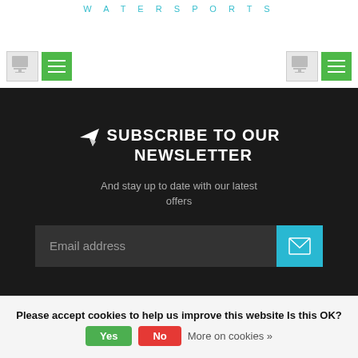WATERSPORTS
SUBSCRIBE TO OUR NEWSLETTER
And stay up to date with our latest offers
Email address
BOYLO'S WATERSPORTS LYME
Please accept cookies to help us improve this website Is this OK? Yes No More on cookies »